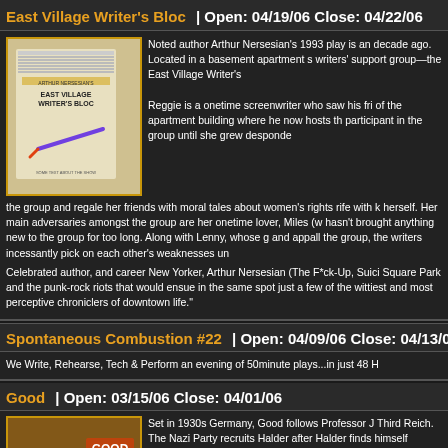East Village Writer's Bloc  | Open: 04/19/06 Close: 04/22/06
[Figure (photo): Promotional poster for East Village Writer's Bloc with notepad and pen imagery]
Noted author Arthur Nersesian's 1993 play is an decade ago. Located in a basement apartment s writers' support group—the East Village Writer's Reggie is a onetime screenwriter who saw his fri of the apartment building where he now hosts th participant in the group until she grew desponde the group and regale her friends with moral tales about women's rights rife with k herself. Her main adversaries amongst the group are her onetime lover, Miles (w hasn't brought anything new to the group for too long. Along with Lenny, whose g and appall the group, the writers incessantly pick on each other's weaknesses un Celebrated author, and career New Yorker, Arthur Nersesian (The F*ck-Up, Suici Square Park and the punk-rock riots that would ensue in the same spot just a few of the wittiest and most perceptive chroniclers of downtown life."
Spontaneous Combustion #22  | Open: 04/09/06 Close: 04/13/06
We Write, Rehearse, Tech & Perform an evening of 50minute plays...in just 48 H
Good  | Open: 03/15/06 Close: 04/01/06
[Figure (photo): Promotional poster for Good showing people in 1930s Germany setting]
Set in 1930s Germany, Good follows Professor J Third Reich. The Nazi Party recruits Halder after Halder finds himself caught up in the nightmare